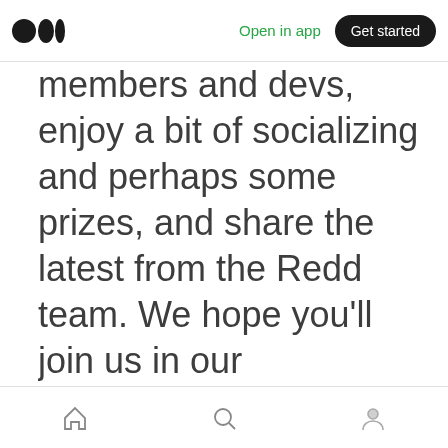Medium logo | Open in app | Get started
members and devs, enjoy a bit of socializing and perhaps some prizes, and share the latest from the Redd team. We hope you'll join us in our Kumospace virtual event space, https://www.kumospace.com/ projectredd for the festivities.
Home | Search | Profile